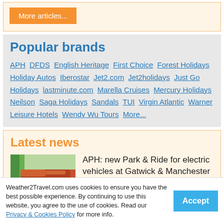More articles...
Popular brands
APH  DFDS  English Heritage  First Choice  Forest Holidays  Holiday Autos  Iberostar  Jet2.com  Jet2holidays  Just Go Holidays  lastminute.com  Marella Cruises  Mercury Holidays  Neilson  Saga Holidays  Sandals  TUI  Virgin Atlantic  Warner Leisure Hotels  Wendy Wu Tours  More...
Latest news
[Figure (photo): A red car parked near a green post/bollard, outdoor setting]
APH: new Park & Ride for electric vehicles at Gatwick & Manchester
Weather2Travel.com uses cookies to ensure you have the best possible experience. By continuing to use this website, you agree to the use of cookies. Read our Privacy & Cookies Policy for more info.